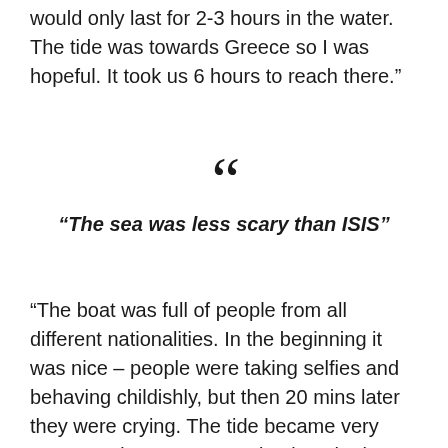would only last for 2-3 hours in the water. The tide was towards Greece so I was hopeful. It took us 6 hours to reach there."
“The sea was less scary than ISIS”
“The boat was full of people from all different nationalities. In the beginning it was nice – people were taking selfies and behaving childishly, but then 20 mins later they were crying. The tide became very strong and water was getting into the boat. We were only two Iraqis in the boat and we were shouting at people to stay in the boat and keep even